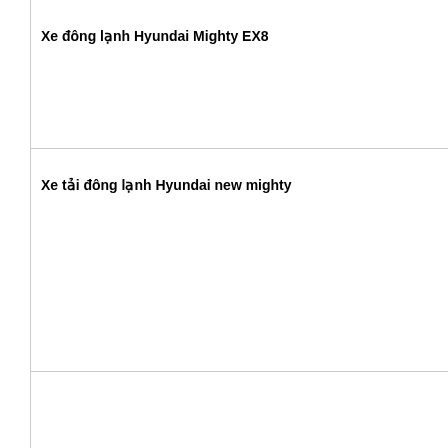Xe đông lạnh Hyundai Mighty EX8
Xe tải đông lạnh Hyundai new mighty